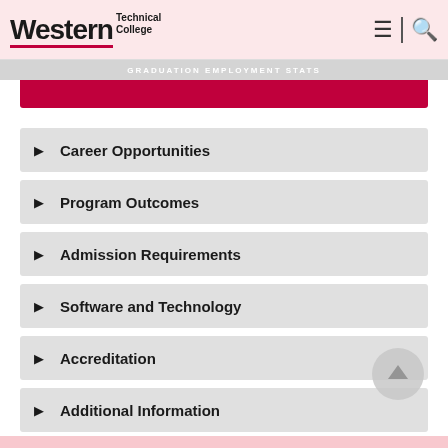Western Technical College — GRADUATION EMPLOYMENT STATS
Career Opportunities
Program Outcomes
Admission Requirements
Software and Technology
Accreditation
Additional Information